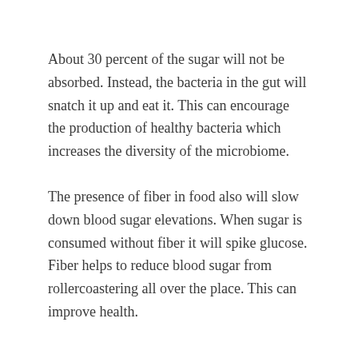About 30 percent of the sugar will not be absorbed. Instead, the bacteria in the gut will snatch it up and eat it. This can encourage the production of healthy bacteria which increases the diversity of the microbiome.
The presence of fiber in food also will slow down blood sugar elevations. When sugar is consumed without fiber it will spike glucose. Fiber helps to reduce blood sugar from rollercoastering all over the place. This can improve health.